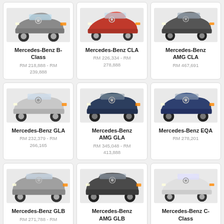[Figure (photo): Mercedes-Benz B-Class grey hatchback]
Mercedes-Benz B-Class
RM 218,888 - RM 239,888
[Figure (photo): Mercedes-Benz CLA red sedan]
Mercedes-Benz CLA
RM 226,334 - RM 278,888
[Figure (photo): Mercedes-Benz AMG CLA dark grey coupe]
Mercedes-Benz AMG CLA
RM 467,691
[Figure (photo): Mercedes-Benz GLA white SUV]
Mercedes-Benz GLA
RM 232,379 - RM 266,165
[Figure (photo): Mercedes-Benz AMG GLA dark blue SUV]
Mercedes-Benz AMG GLA
RM 345,048 - RM 413,888
[Figure (photo): Mercedes-Benz EQA dark blue electric SUV]
Mercedes-Benz EQA
RM 278,201
[Figure (photo): Mercedes-Benz GLB grey large SUV]
Mercedes-Benz GLB
RM 271,788 - RM 318,009
[Figure (photo): Mercedes-Benz AMG GLB dark grey large SUV]
Mercedes-Benz AMG GLB
RM 363,137
[Figure (photo): Mercedes-Benz C-Class white sedan]
Mercedes-Benz C-Class
RM 287,888 - RM 330,681